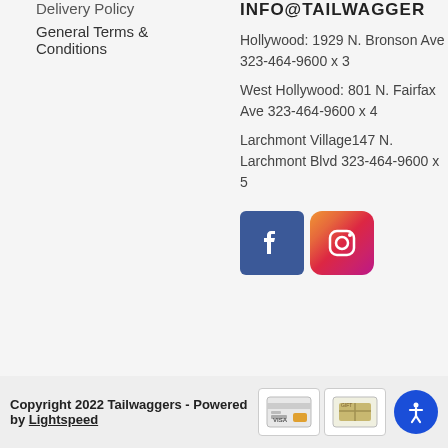Delivery Policy
General Terms & Conditions
INFO@TAILWAGGER
Hollywood: 1929 N. Bronson Ave 323-464-9600 x 3
West Hollywood: 801 N. Fairfax Ave 323-464-9600 x 4
Larchmont Village147 N. Larchmont Blvd 323-464-9600 x 5
[Figure (logo): Facebook and Instagram social media icons]
Copyright 2022 Tailwaggers - Powered by Lightspeed